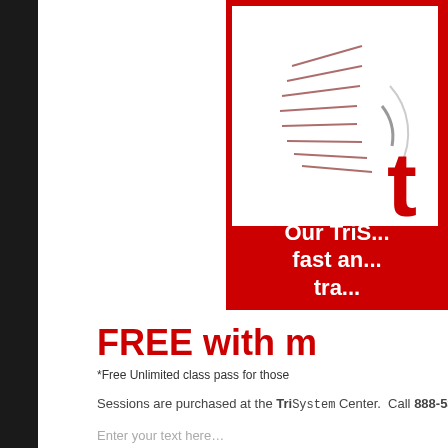[Figure (logo): Partial view of a TriSystem branded advertisement with red border, white background with speed lines and partial letter 't', and red banner with white text reading 'Our TriS... fast an... tra...']
FREE with m
*Free Unlimited class pass for those
Sessions are purchased at the TriSystem Center.  Call 888-538-234...
Enter your text here…